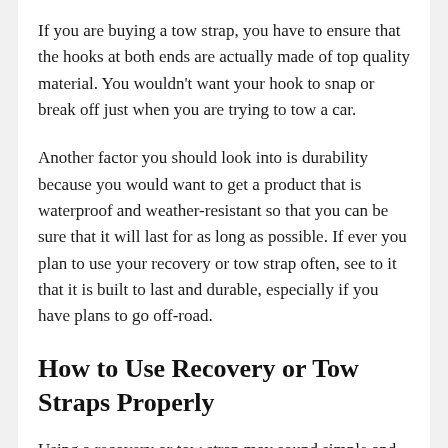If you are buying a tow strap, you have to ensure that the hooks at both ends are actually made of top quality material. You wouldn't want your hook to snap or break off just when you are trying to tow a car.
Another factor you should look into is durability because you would want to get a product that is waterproof and weather-resistant so that you can be sure that it will last for as long as possible. If ever you plan to use your recovery or tow strap often, see to it that it is built to last and durable, especially if you have plans to go off-road.
How to Use Recovery or Tow Straps Properly
Using a recovery or tow strap may sound simple and straightforward. However, doing things the wrong way